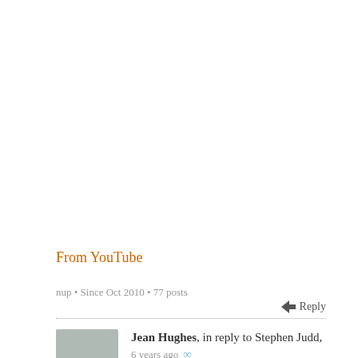From YouTube
nup • Since Oct 2010 • 77 posts
Reply
Jean Hughes, in reply to Stephen Judd, 6 years ago ∞